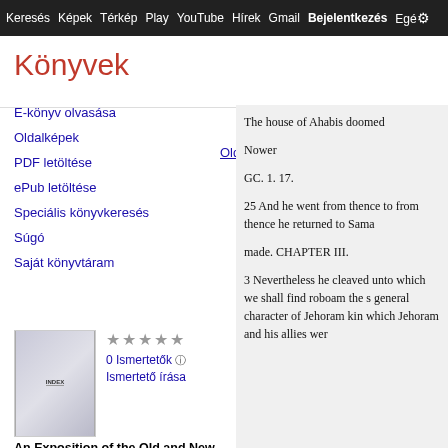Keresés  Képek  Térkép  Play  YouTube  Hírek  Gmail  Bejelentkezés  Egyéb
Könyvek
E-könyv olvasása
Oldalképek
PDF letöltése
ePub letöltése
Speciális könyvkeresés
Súgó
Saját könyvtáram
0 Ismertetők  Ismertető írása
An Exposition of the Old and New Testaments: Wherein Each Chapter ...,
877 - 881
Oldalképek  PDF  ePub
The house of Ahabis doomed

Nower

GC. 1. 17.

25 And he went from thence to from thence he returned to Sama

made. CHAPTER III.

3 Nevertheless he cleaved unto which we shall find roboam the s general character of Jehoram kin which Jehoram and his allies wer